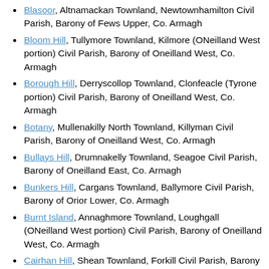Blasoor, Altnamackan Townland, Newtownhamilton Civil Parish, Barony of Fews Upper, Co. Armagh
Bloom Hill, Tullymore Townland, Kilmore (ONeilland West portion) Civil Parish, Barony of Oneilland West, Co. Armagh
Borough Hill, Derryscollop Townland, Clonfeacle (Tyrone portion) Civil Parish, Barony of Oneilland West, Co. Armagh
Botany, Mullenakilly North Townland, Killyman Civil Parish, Barony of Oneilland West, Co. Armagh
Bullays Hill, Drumnakelly Townland, Seagoe Civil Parish, Barony of Oneilland East, Co. Armagh
Bunkers Hill, Cargans Townland, Ballymore Civil Parish, Barony of Orior Lower, Co. Armagh
Burnt Island, Annaghmore Townland, Loughgall (ONeilland West portion) Civil Parish, Barony of Oneilland West, Co. Armagh
Cairhan Hill, Shean Townland, Forkill Civil Parish, Barony of Orior Upper, Co. Armagh
Carewamean, Carrickbroad Townland, Killevy (Upper Orior portion) Civil Parish, Barony of Orior Upper, Co. Armagh
Cargy, Listarkelt Townland, Derrynoose Civil Parish, Barony of Tiranny, Co. Armagh
Carnagh, Carrickduff Townland, Keady Civil Parish, Barony of Tiranny, Co. Armagh